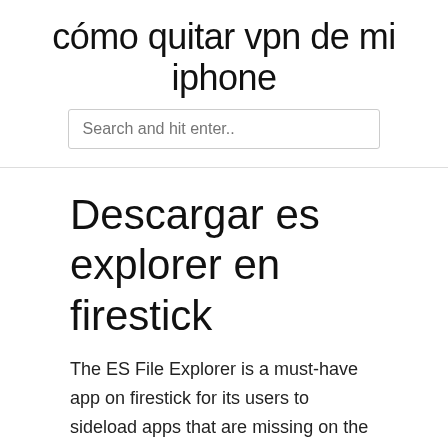cómo quitar vpn de mi iphone
Descargar es explorer en firestick
The ES File Explorer is a must-have app on firestick for its users to sideload apps that are missing on the Amazon app store. There are a lot of other features available on the ES File Explorer app that you need to explore. Comment below your favorite feature from Amazon FireStick is the most popular streaming device that is used for streaming various contents. Apart from managing files and folders, the ES File Explorer is used for sideloading apps to FireStick. It is the best option for installing third-party apps. Amazon FireStick is the most popular streaming device used for streaming various content.